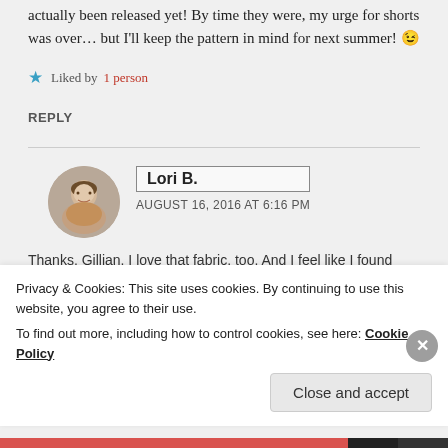actually been released yet! By time they were, my urge for shorts was over… but I'll keep the pattern in mind for next summer! 😉
★ Liked by 1 person
REPLY
[Figure (photo): Circular avatar photo of Lori B., a woman with light hair]
Lori B.
AUGUST 16, 2016 AT 6:16 PM
Thanks, Gillian. I love that fabric, too. And I feel like I found
Privacy & Cookies: This site uses cookies. By continuing to use this website, you agree to their use.
To find out more, including how to control cookies, see here: Cookie Policy
Close and accept